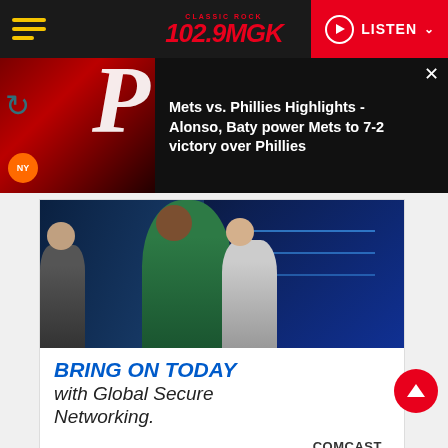102.9 MGK Classic Rock | LISTEN
[Figure (screenshot): News banner showing Mets vs Phillies baseball game highlight with Phillies P logo on dark red background]
Mets vs. Phillies Highlights - Alonso, Baty power Mets to 7-2 victory over Phillies
[Figure (photo): Advertisement photo showing a woman in green jacket presenting at a screen with colleagues]
BRING ON TODAY with Global Secure Networking.
LEARN MORE
COMCAST BUSINESS Powering Possibilities